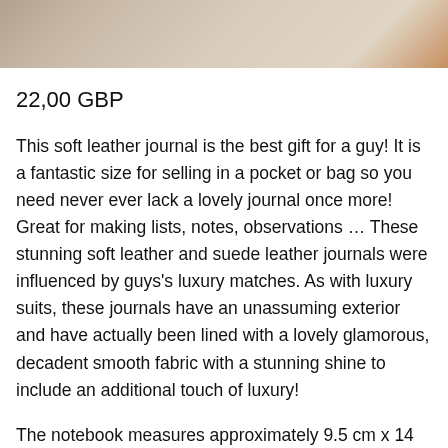[Figure (photo): Partial product photo of a soft leather journal, showing bottom portion of the item against a light background]
22,00 GBP
This soft leather journal is the best gift for a guy! It is a fantastic size for selling in a pocket or bag so you need never ever lack a lovely journal once more! Great for making lists, notes, observations … These stunning soft leather and suede leather journals were influenced by guys's luxury matches. As with luxury suits, these journals have an unassuming exterior and have actually been lined with a lovely glamorous, decadent smooth fabric with a stunning shine to include an additional touch of luxury!
The notebook measures approximately 9.5 cm x 14 cm (3.75 in x 5.5 in). The journal has 44 pages (88 sides) of blank Forestry Stewardship Council